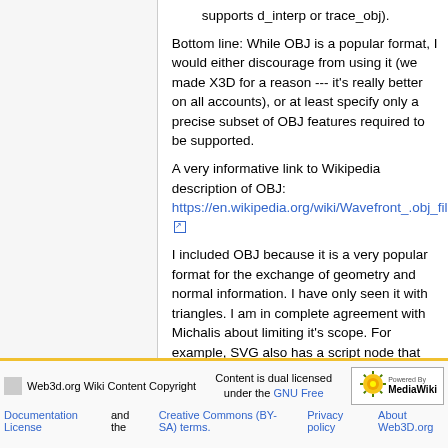supports d_interp or trace_obj).
Bottom line: While OBJ is a popular format, I would either discourage from using it (we made X3D for a reason --- it's really better on all accounts), or at least specify only a precise subset of OBJ features required to be supported.
A very informative link to Wikipedia description of OBJ: https://en.wikipedia.org/wiki/Wavefront_.obj_file
I included OBJ because it is a very popular format for the exchange of geometry and normal information. I have only seen it with triangles. I am in complete agreement with Michalis about limiting it's scope. For example, SVG also has a script node that seems to operate just fine in combination with HTML.
Web3d.org Wiki Content Copyright | Content is dual licensed under the GNU Free Documentation License and the Creative Commons (BY-SA) terms. | Privacy policy | About Web3D.org